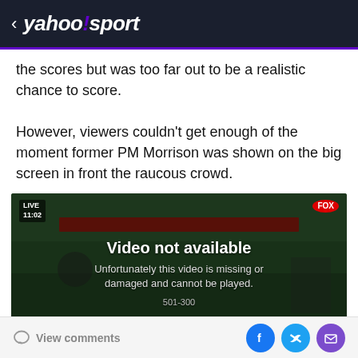< yahoo!/sport
the scores but was too far out to be a realistic chance to score.
However, viewers couldn't get enough of the moment former PM Morrison was shown on the big screen in front the raucous crowd.
[Figure (screenshot): Video player showing 'Video not available' message with text 'Unfortunately this video is missing or damaged and cannot be played.' and code '501-300'. Background shows football/soccer field with players and officials. FOX Sports branding visible.]
View comments